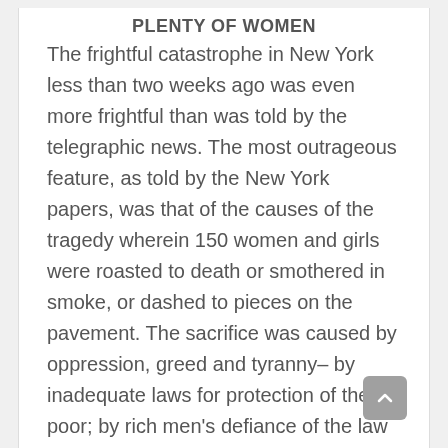PLENTY OF WOMEN
The frightful catastrophe in New York less than two weeks ago was even more frightful than was told by the telegraphic news. The most outrageous feature, as told by the New York papers, was that of the causes of the tragedy wherein 150 women and girls were roasted to death or smothered in smoke, or dashed to pieces on the pavement. The sacrifice was caused by oppression, greed and tyranny– by inadequate laws for protection of the poor; by rich men's defiance of the law and by compliance of weak officials